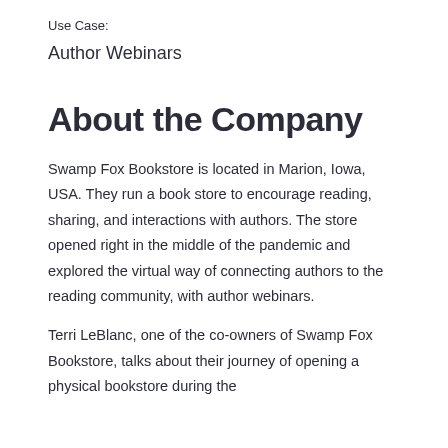Use Case:
Author Webinars
About the Company
Swamp Fox Bookstore is located in Marion, Iowa, USA. They run a book store to encourage reading, sharing, and interactions with authors. The store opened right in the middle of the pandemic and explored the virtual way of connecting authors to the reading community, with author webinars.
Terri LeBlanc, one of the co-owners of Swamp Fox Bookstore, talks about their journey of opening a physical bookstore during the